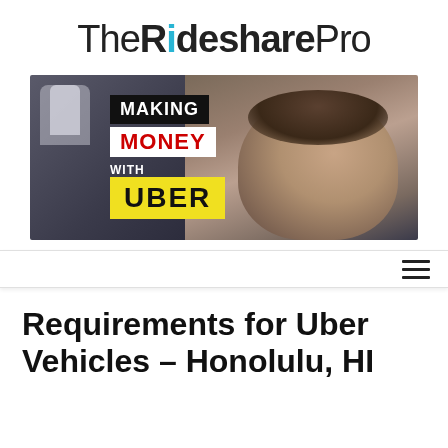The Rideshare Pro
[Figure (photo): Banner image showing a smiling man in a car with text overlays: 'MAKING MONEY WITH UBER' on dark/white/yellow backgrounds]
[Figure (other): Navigation hamburger menu icon (three horizontal lines)]
Requirements for Uber Vehicles – Honolulu, HI